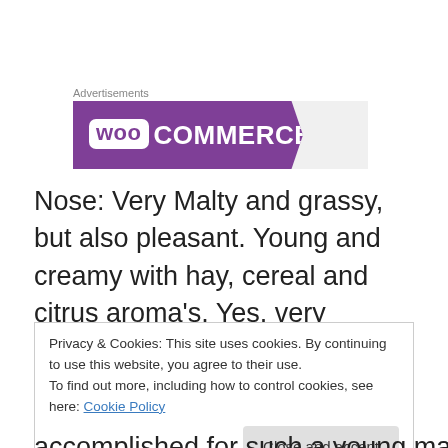[Figure (logo): WooCommerce advertisement banner with purple background and white logo text]
Nose: Very Malty and grassy, but also pleasant. Young and creamy with hay, cereal and citrus aroma's. Yes. very Lowland. Somewhere between soft and fresh 'n zesty. Young, but not really new make spirit young (so nothing
Privacy & Cookies: This site uses cookies. By continuing to use this website, you agree to their use.
To find out more, including how to control cookies, see here: Cookie Policy
accomplished for such a young malt, but young and